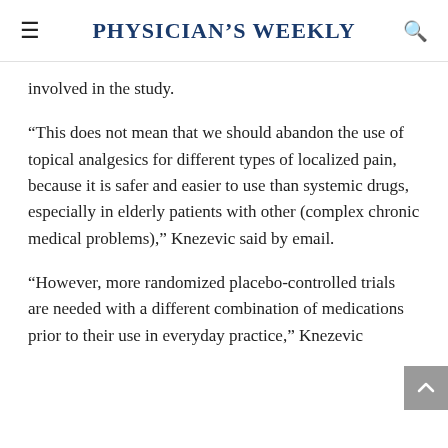Physician's Weekly
involved in the study.
“This does not mean that we should abandon the use of topical analgesics for different types of localized pain, because it is safer and easier to use than systemic drugs, especially in elderly patients with other (complex chronic medical problems),” Knezevic said by email.
“However, more randomized placebo-controlled trials are needed with a different combination of medications prior to their use in everyday practice,” Knezevic